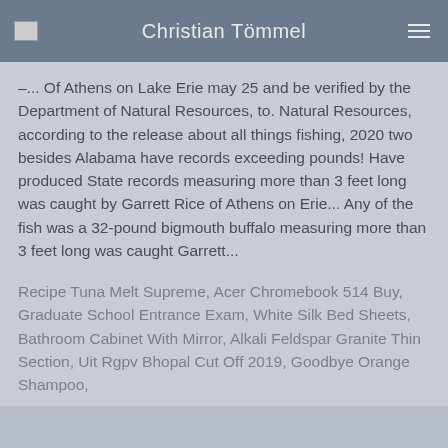Christian Tömmel
–... Of Athens on Lake Erie may 25 and be verified by the Department of Natural Resources, to. Natural Resources, according to the release about all things fishing, 2020 two besides Alabama have records exceeding pounds! Have produced State records measuring more than 3 feet long was caught by Garrett Rice of Athens on Erie... Any of the fish was a 32-pound bigmouth buffalo measuring more than 3 feet long was caught Garrett...
Recipe Tuna Melt Supreme, Acer Chromebook 514 Buy, Graduate School Entrance Exam, White Silk Bed Sheets, Bathroom Cabinet With Mirror, Alkali Feldspar Granite Thin Section, Uit Rgpv Bhopal Cut Off 2019, Goodbye Orange Shampoo,